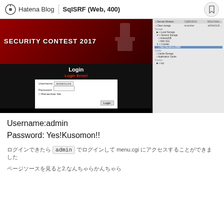Hatena Blog | SqlSRF (Web, 400)
[Figure (screenshot): Screenshot of Security Contest 2017 login page showing 'Login Error!' message with username/password fields, alongside a browser DevTools panel showing storage and cookie information.]
Username:admin
Password: Yes!Kusomon!!
ログインできたら admin でログインして menu.cgi にアクセスすることができました
ページソースを見ると2.なんちゃらかんちゃら